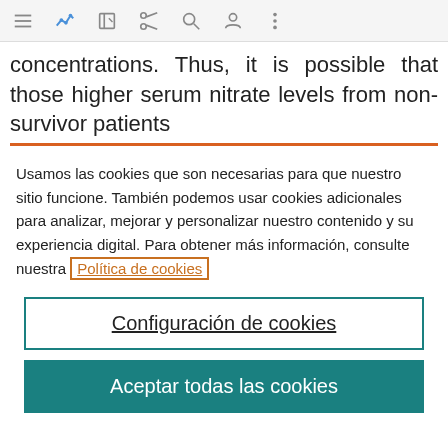toolbar with navigation icons
concentrations. Thus, it is possible that those higher serum nitrate levels from non-survivor patients
Usamos las cookies que son necesarias para que nuestro sitio funcione. También podemos usar cookies adicionales para analizar, mejorar y personalizar nuestro contenido y su experiencia digital. Para obtener más información, consulte nuestra Política de cookies
Configuración de cookies
Aceptar todas las cookies